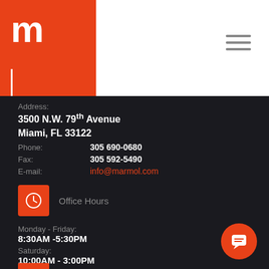[Figure (logo): Orange square with white letter m and vertical line underneath — Marmol company logo]
[Figure (other): Hamburger menu icon (three horizontal grey lines)]
Address:
3500 N.W. 79th Avenue
Miami, FL 33122
Phone: 305 690-0680
Fax: 305 592-5490
E-mail: info@marmol.com
Office Hours
Monday - Friday:
8:30AM -5:30PM
Saturday:
10:00AM - 3:00PM
Sunday:
Closed
Contact Us
[Figure (other): Orange chat bubble button in bottom right corner]